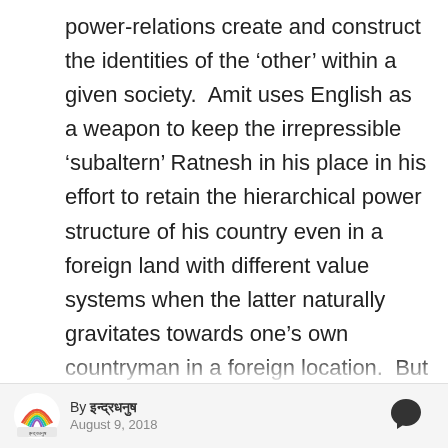power-relations create and construct the identities of the ‘other’ within a given society.  Amit uses English as a weapon to keep the irrepressible ‘subaltern’ Ratnesh in his place in his effort to retain the hierarchical power structure of his country even in a foreign land with different value systems when the latter naturally gravitates towards one’s own countryman in a foreign location.  But Ratnesh who knows just a little more English than Harish, continually
By इन्द्रधनुष August 9, 2018